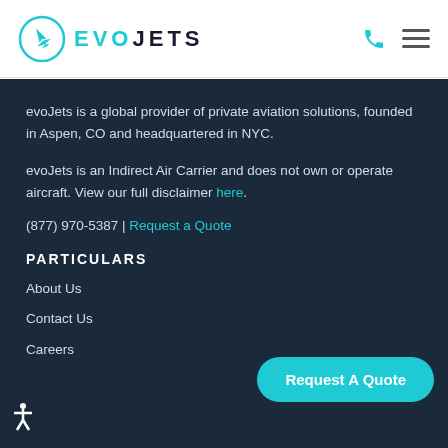EVOJETS
evoJets is a global provider of private aviation solutions, founded in Aspen, CO and headquartered in NYC.
evoJets is an Indirect Air Carrier and does not own or operate aircraft. View our full disclaimer here.
(877) 970-5387 | Request a Quote
PARTICULARS
About Us
Contact Us
Careers